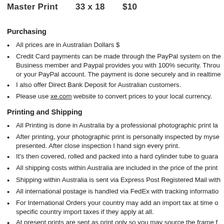Master Print   33 x 18   $10...
Purchasing
All prices are in Australian Dollars $
Credit Card payments can be made through the PayPal system on the Business member and Paypal provides you with 100% security. Through or your PayPal account. The payment is done securely and in realtime
I also offer Direct Bank Deposit for Australian customers.
Please use xe.com website to convert prices to your local currency.
Printing and Shipping
All Printing is done in Australia by a professional photographic print la
After printing, your photographic print is personally inspected by myse presented. After close inspection I hand sign every print.
It's then covered, rolled and packed into a hard cylinder tube to guara
All shipping costs within Australia are included in the price of the print
Shipping within Australia is sent via Express Post Registered Mail with
All international postage is handled via FedEx with tracking informatio
For International Orders your country may add an import tax at time o specific country import taxes if they apply at all.
At present prints are sent as print only so you may source the frame f
Quoted sizes for canvas will include the gallery wrap so allow a size n
All canvas prints can be stretched around a 5cm (2") frame at any go